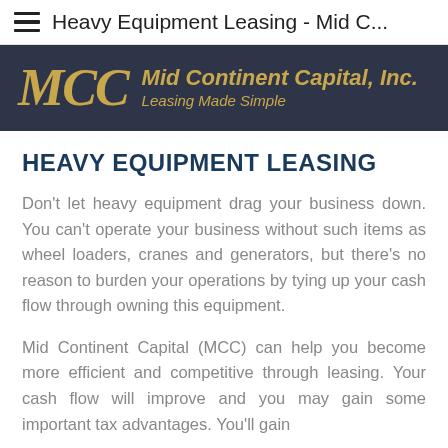Heavy Equipment Leasing - Mid C...
[Figure (logo): Mid Continent Capital, Inc. logo with gold MCC script and tagline 'Leasing Made Simple' on dark navy background]
HEAVY EQUIPMENT LEASING
Don't let heavy equipment drag your business down. You can't operate your business without such items as wheel loaders, cranes and generators, but there's no reason to burden your operations by tying up your cash flow through owning this equipment.
Mid Continent Capital (MCC) can help you become more efficient and competitive through leasing. Your cash flow will improve and you may gain some important tax advantages. You'll gain